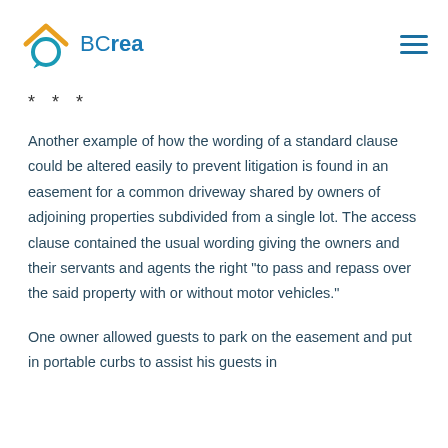BCrea
* * *
Another example of how the wording of a standard clause could be altered easily to prevent litigation is found in an easement for a common driveway shared by owners of adjoining properties subdivided from a single lot. The access clause contained the usual wording giving the owners and their servants and agents the right "to pass and repass over the said property with or without motor vehicles."
One owner allowed guests to park on the easement and put in portable curbs to assist his guests in